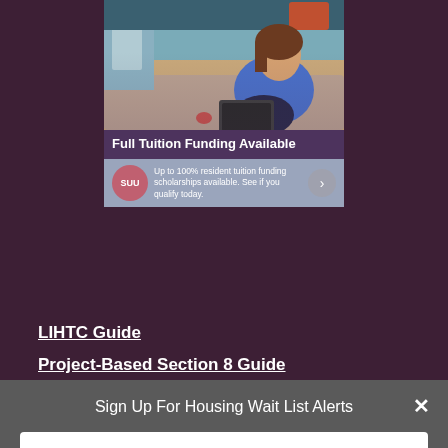[Figure (photo): Advertisement card showing a person sitting with a laptop, with SUU logo and text 'Full Tuition Funding Available — Up to 100% resident tuition funding scholarships available. See if you qualify today.']
LIHTC Guide
Project-Based Section 8 Guide
[partially visible link text]
Sign Up For Housing Wait List Alerts
Type your email
Sign Up